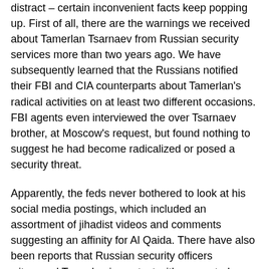distract – certain inconvenient facts keep popping up.  First of all, there are the warnings we received about Tamerlan Tsarnaev from Russian security services more than two years ago.  We have subsequently learned that the Russians notified their FBI and CIA counterparts about Tamerlan's radical activities on at least two different occasions.  FBI agents even interviewed the over Tsarnaev brother, at Moscow's request, but found nothing to suggest he had become radicalized or posed a security threat.
Apparently, the feds never bothered to look at his social media postings, which included an assortment of jihadist videos and comments suggesting an affinity for Al Qaida.  There have also been reports that Russian security officers witnessed Tamerlan in contact with suspected terrorists on six different occasions during an extended visit to Dagestan